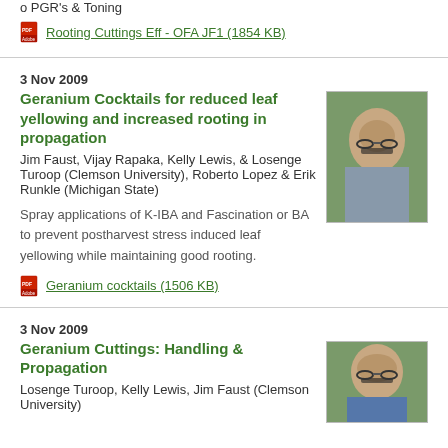o PGR's & Toning
Rooting Cuttings Eff - OFA JF1 (1854 KB)
3 Nov 2009
Geranium Cocktails for reduced leaf yellowing and increased rooting in propagation
Jim Faust, Vijay Rapaka, Kelly Lewis, & Losenge Turoop (Clemson University), Roberto Lopez & Erik Runkle (Michigan State)
Spray applications of K-IBA and Fascination or BA to prevent postharvest stress induced leaf yellowing while maintaining good rooting.
[Figure (photo): Headshot of a middle-aged man with glasses and short dark hair, wearing a grey shirt, outdoors with green foliage background]
Geranium cocktails (1506 KB)
3 Nov 2009
Geranium Cuttings: Handling & Propagation
Losenge Turoop, Kelly Lewis, Jim Faust (Clemson University)
[Figure (photo): Headshot of a bald man with glasses, outdoors with green foliage background]